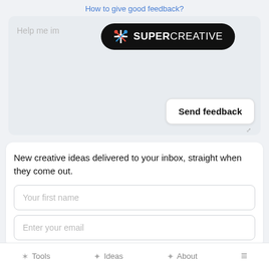How to give good feedback?
[Figure (logo): SuperCreative logo pill — black rounded rectangle with colorful asterisk icon and white bold text SUPERCREATIVE]
Help me im...
Send feedback
New creative ideas delivered to your inbox, straight when they come out.
Your first name
Enter your email
Tools   Ideas   About   ≡